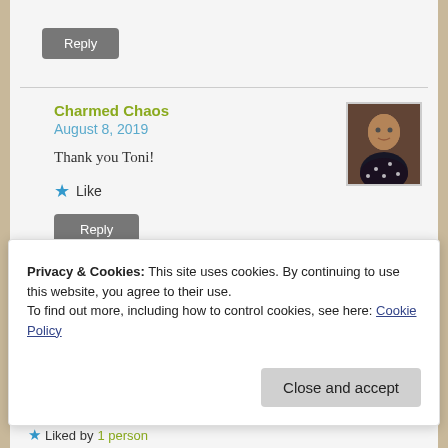Reply
Charmed Chaos
August 8, 2019
Thank you Toni!
★ Like
Reply
Privacy & Cookies: This site uses cookies. By continuing to use this website, you agree to their use.
To find out more, including how to control cookies, see here: Cookie Policy
Close and accept
★ Liked by 1 person